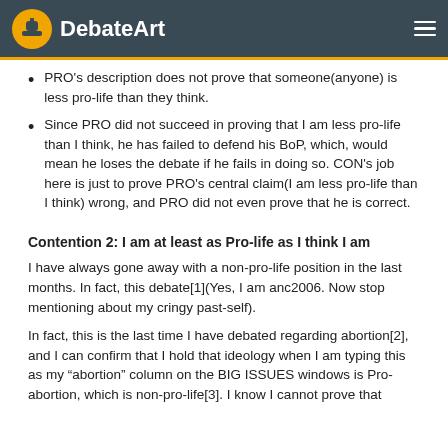DebateArt
PRO's description does not prove that someone(anyone) is less pro-life than they think.
Since PRO did not succeed in proving that I am less pro-life than I think, he has failed to defend his BoP, which, would mean he loses the debate if he fails in doing so. CON's job here is just to prove PRO's central claim(I am less pro-life than I think) wrong, and PRO did not even prove that he is correct.
Contention 2: I am at least as Pro-life as I think I am
I have always gone away with a non-pro-life position in the last months. In fact, this debate[1](Yes, I am anc2006. Now stop mentioning about my cringy past-self).
In fact, this is the last time I have debated regarding abortion[2], and I can confirm that I hold that ideology when I am typing this as my “abortion” column on the BIG ISSUES windows is Pro-abortion, which is non-pro-life[3]. I know I cannot prove that